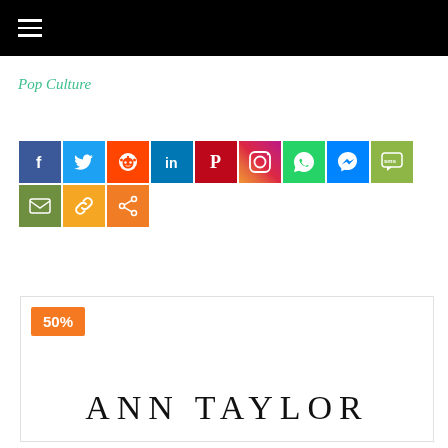Pop Culture
[Figure (infographic): Row of social sharing icon buttons: Facebook, Twitter, Reddit, LinkedIn, Pinterest, Instagram, WhatsApp, Messenger, SMS, Email, Copy link, Share]
[Figure (logo): Ann Taylor brand logo with 50% badge overlay on a white card]